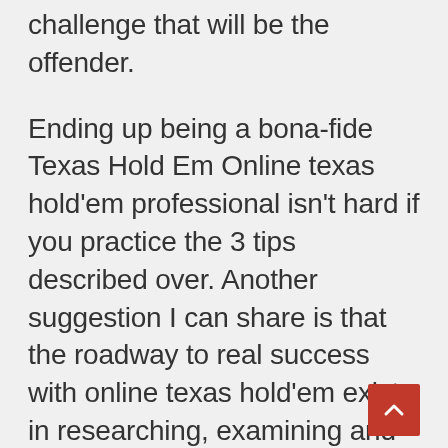challenge that will be the offender.
Ending up being a bona-fide Texas Hold Em Online texas hold'em professional isn't hard if you practice the 3 tips described over. Another suggestion I can share is that the roadway to real success with online texas hold'em exists in researching, examining and learning how to play online texas hold'em better. Finding new Texas Hold Em Online texas hold'em tips is a great way to obtain really proficient at online texas hold'em very fast and will significantly decrease the moment it takes you to earn money.